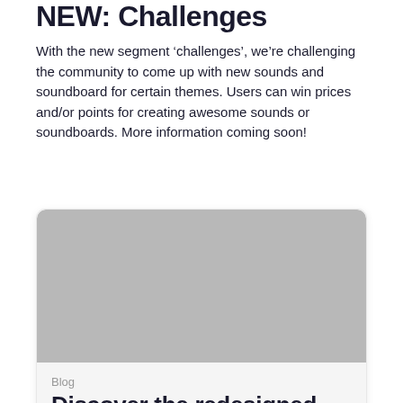NEW: Challenges
With the new segment ‘challenges’, we’re challenging the community to come up with new sounds and soundboard for certain themes. Users can win prices and/or points for creating awesome sounds or soundboards. More information coming soon!
[Figure (photo): Gray placeholder image inside a card]
Blog
Discover the redesigned blog